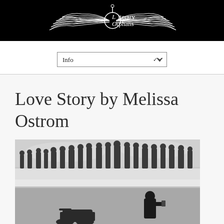[Figure (logo): Literary Orphans logo with wings and circular emblem on black background]
Info
Love Story by Melissa Ostrom
[Figure (photo): Black and white photograph showing a crowd of people standing along a wall or elevated platform viewed from behind, with a motorcycle and a lone person photographing in the lower foreground]